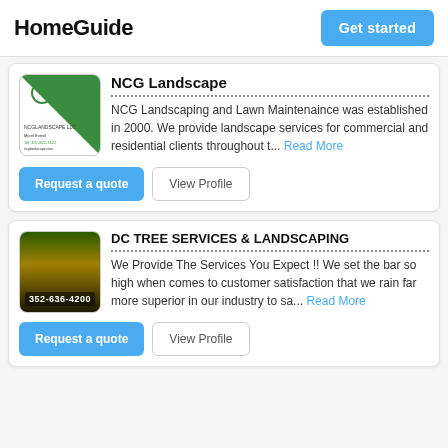HomeGuide
NCG Landscape
NCG Landscaping and Lawn Maintenaince was established in 2000. We provide landscape services for commercial and residential clients throughout t... Read More
DC TREE SERVICES & LANDSCAPING
We Provide The Services You Expect !! We set the bar so high when comes to customer satisfaction that we rain far more superior in our industry to sa... Read More